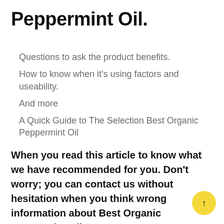Peppermint Oil.
Questions to ask the product benefits.
How to know when it's using factors and useability.
And more
A Quick Guide to The Selection Best Organic Peppermint Oil
When you read this article to know what we have recommended for you. Don't worry; you can contact us without hesitation when you think wrong information about Best Organic Peppermint Oil.